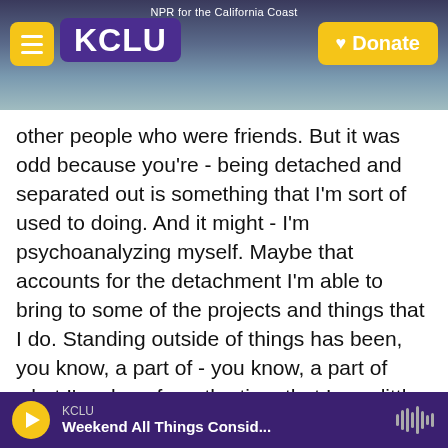KCLU — NPR for the California Coast — Donate
other people who were friends. But it was odd because you're - being detached and separated out is something that I'm sort of used to doing. And it might - I'm psychoanalyzing myself. Maybe that accounts for the detachment I'm able to bring to some of the projects and things that I do. Standing outside of things has been, you know, a part of - you know, a part of what I've done from the time that I was little because of the circumstances of how I went to school and where I went to school.
GROSS: Let me reintroduce you here. If you're just joining us, my guest is Pulitzer Prize-winning
KCLU — Weekend All Things Consid...